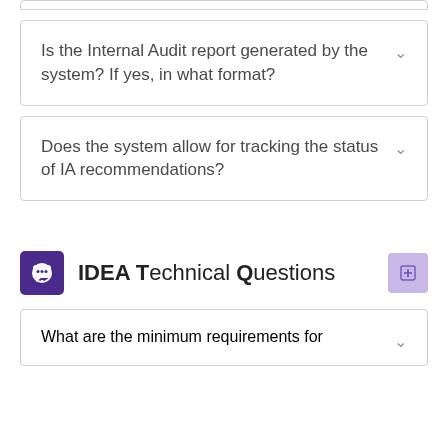Is the Internal Audit report generated by the system? If yes, in what format?
Does the system allow for tracking the status of IA recommendations?
IDEA Technical Questions
What are the minimum requirements for